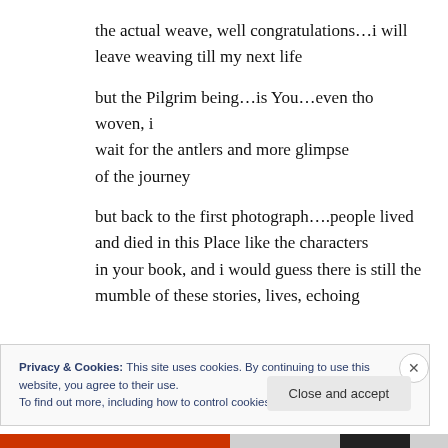the actual weave, well congratulations…i will leave weaving till my next life
but the Pilgrim being…is You…even tho woven, i wait for the antlers and more glimpse of the journey
but back to the first photograph….people lived and died in this Place like the characters in your book, and i would guess there is still the mumble of these stories, lives, echoing
Privacy & Cookies: This site uses cookies. By continuing to use this website, you agree to their use. To find out more, including how to control cookies, see here: Cookie Policy
Close and accept